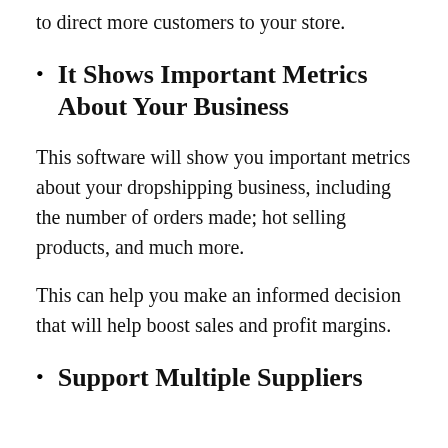to direct more customers to your store.
It Shows Important Metrics About Your Business
This software will show you important metrics about your dropshipping business, including the number of orders made; hot selling products, and much more.
This can help you make an informed decision that will help boost sales and profit margins.
Support Multiple Suppliers